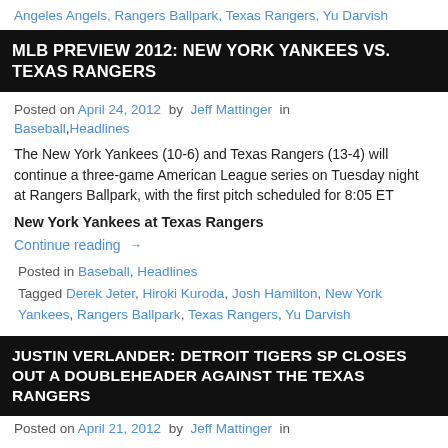Angeles Angels, Rangers Ballpark, Texas Rangers, Yu Darvish
MLB PREVIEW 2012: NEW YORK YANKEES VS. TEXAS RANGERS
Posted on April 24, 2012 by Jeff Mattinger in
Baseball, Headlines
The New York Yankees (10-6) and Texas Rangers (13-4) will continue a three-game American League series on Tuesday night at Rangers Ballpark, with the first pitch scheduled for 8:05 ET
New York Yankees at Texas Rangers
Continue reading →
Posted in Baseball, Headlines
Tagged Derek Jeter, Hiroki Kuroda, Josh Hamilton, New York Yankees, Rangers Ballpark, Texas Rangers, Yu Darvish
JUSTIN VERLANDER: DETROIT TIGERS SP CLOSES OUT A DOUBLEHEADER AGAINST THE TEXAS RANGERS
Posted on April 21, 2012 by Jeff Mattinger in